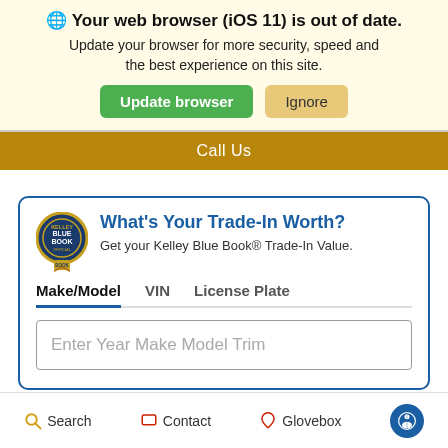🌐 Your web browser (iOS 11) is out of date. Update your browser for more security, speed and the best experience on this site.
Update browser | Ignore
Call Us
What's Your Trade-In Worth? Get your Kelley Blue Book® Trade-In Value.
Make/Model  VIN  License Plate
Enter Year Make Model Trim
Search  Contact  Glovebox